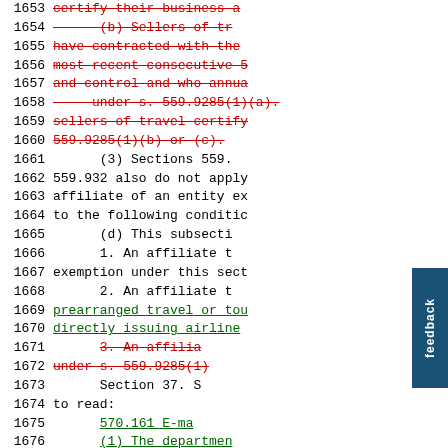1653  certify their business a- [strikethrough red]
1654       (b) Sellers of tr- [strikethrough red]
1655  have contracted with the- [strikethrough red]
1656  most recent consecutive 5 [strikethrough red]
1657  and control and who annua- [strikethrough red]
1658       under s. 559.9285(1)(a). [strikethrough red]
1659  sellers of travel certify [strikethrough red]
1660  559.9285(1)(b) or (c). [strikethrough red]
1661       (3) Sections 559.
1662  559.932 also do not apply
1663  affiliate of an entity ex
1664  to the following conditic
1665       (d) This subsecti
1666       1. An affiliate t
1667  exemption under this sect
1668       2. An affiliate t
1669  prearranged travel or tou [green underline]
1670  directly issuing airline [green underline]
1671       3. An affilia- [strikethrough red]
1672  under s. 559.9285(1) [strikethrough red]
1673       Section 37. S
1674  to read:
1675       570.161 E-ma [green underline]
1676       (1) The departmen [green underline]
1677  to submit an active e-mai [green underline]
1678  [partially visible]